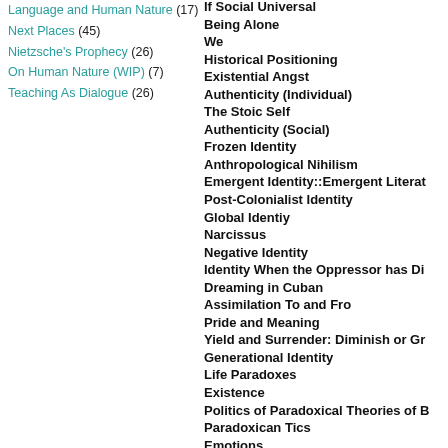Language and Human Nature (17)
Next Places (45)
Nietzsche's Prophecy (26)
On Human Nature (WIP) (7)
Teaching As Dialogue (26)
If Social Universal
Being Alone
We
Historical Positioning
Existential Angst
Authenticity (Individual)
The Stoic Self
Authenticity (Social)
Frozen Identity
Anthropological Nihilism
Emergent Identity::Emergent Literat
Post-Colonialist Identity
Global Identiy
Narcissus
Negative Identity
Identity When the Oppressor has Di
Dreaming in Cuban
Assimilation To and Fro
Pride and Meaning
Yield and Surrender: Diminish or Gr
Generational Identity
Life Paradoxes
Existence
Politics of Paradoxical Theories of B
Paradoxican Tics
Emotions
Birth Order